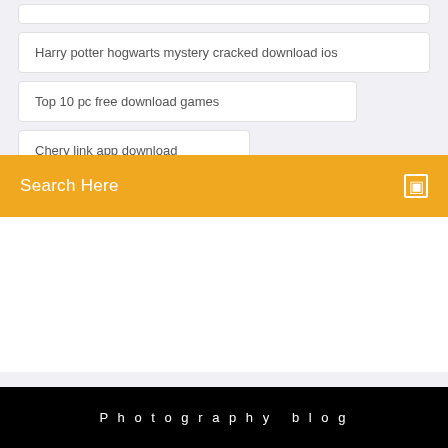Harry potter hogwarts mystery cracked download ios
Top 10 pc free download games
Chery link app download
Soundcloud downloader apk soundcloud to mp3
Search Here
Photography blog